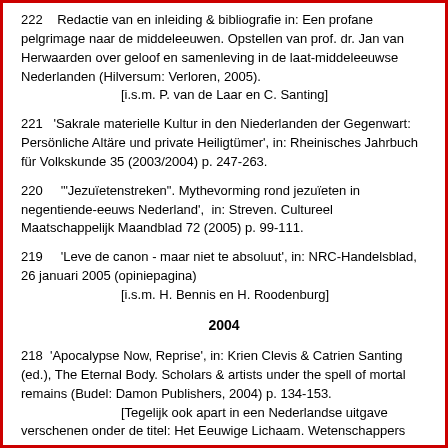222   Redactie van en inleiding & bibliografie in: Een profane pelgrimage naar de middeleeuwen. Opstellen van prof. dr. Jan van Herwaarden over geloof en samenleving in de laat-middeleeuwse Nederlanden (Hilversum: Verloren, 2005).
[i.s.m. P. van de Laar en C. Santing]
221   'Sakrale materielle Kultur in den Niederlanden der Gegenwart: Persönliche Altäre und private Heiligtümer', in: Rheinisches Jahrbuch für Volkskunde 35 (2003/2004) p. 247-263.
220    '"Jezuïetenstreken". Mythevorming rond jezuïeten in negentiende-eeuws Nederland',  in: Streven. Cultureel Maatschappelijk Maandblad 72 (2005) p. 99-111.
219    'Leve de canon - maar niet te absoluut', in: NRC-Handelsblad, 26 januari 2005 (opiniepagina)
[i.s.m. H. Bennis en H. Roodenburg]
2004
218  'Apocalypse Now, Reprise', in: Krien Clevis & Catrien Santing (ed.), The Eternal Body. Scholars & artists under the spell of mortal remains (Budel: Damon Publishers, 2004) p. 134-153.
[Tegelijk ook apart in een Nederlandse uitgave verschenen onder de titel: Het Eeuwige Lichaam. Wetenschappers